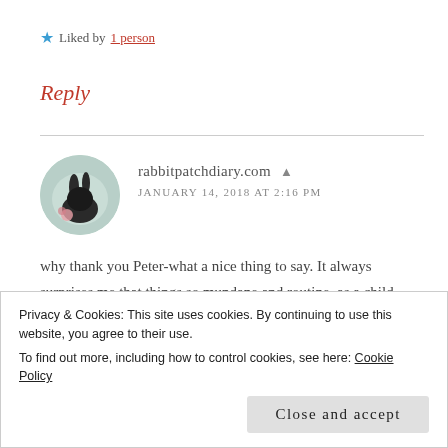★ Liked by 1 person
Reply
rabbitpatchdiary.com  👤
JANUARY 14, 2018 AT 2:16 PM
why thank you Peter-what a nice thing to say. It always surprises me that things so mundane and routine, as a child, really made a big impact on who I am now-and hopefully growth of spirit. Poor winter is not well
Privacy & Cookies: This site uses cookies. By continuing to use this website, you agree to their use.
To find out more, including how to control cookies, see here: Cookie Policy
Close and accept